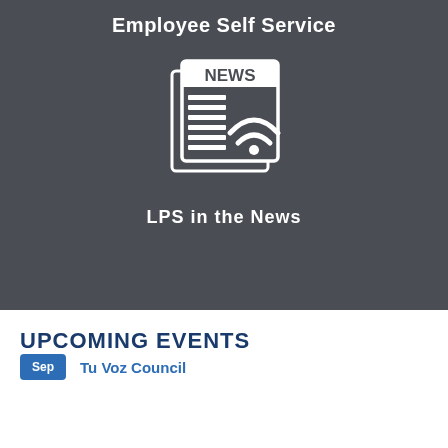Employee Self Service
[Figure (illustration): White newspaper icon with NEWS header and RSS feed symbol on dark grey background]
LPS in the News
UPCOMING EVENTS
Sep  Tu Voz Council